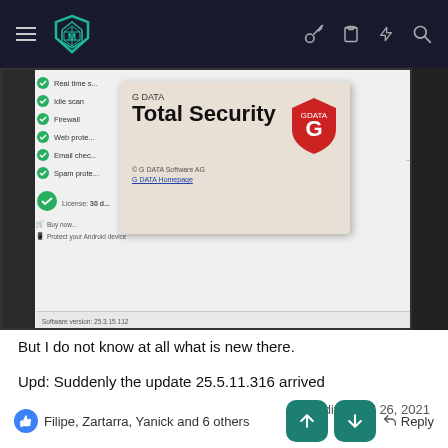Forum navigation bar with hamburger menu, logo, and icons (key, clipboard, lightning, search)
[Figure (screenshot): Screenshot of G DATA Total Security software about dialog, showing product name 'G DATA Total Security', license info '30 d...', copyright '© G DATA Software AG', G DATA Homepage link, 'Protect your Android device' link, software version 25.3.15.112, and G DATA shield logo. Left panel shows checkmarks for Real-time scan, Idle scan, firewall, Web protection, Email check, Spam protection.]
But I do not know at all what is new there.
Upd: Suddenly the update 25.5.11.316 arrived
Last edited: Jul 26, 2021
Filipe, Zartarra, Yanick and 6 others